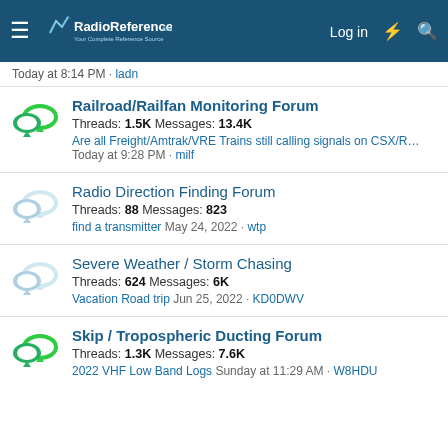RadioReference.com — Log in
Today at 8:14 PM · ladn
Railroad/Railfan Monitoring Forum
Threads: 1.5K Messages: 13.4K
Are all Freight/Amtrak/VRE Trains still calling signals on CSX/R… Today at 9:28 PM · milf
Radio Direction Finding Forum
Threads: 88 Messages: 823
find a transmitter May 24, 2022 · wtp
Severe Weather / Storm Chasing
Threads: 624 Messages: 6K
Vacation Road trip Jun 25, 2022 · KD0DWV
Skip / Tropospheric Ducting Forum
Threads: 1.3K Messages: 7.6K
2022 VHF Low Band Logs Sunday at 11:29 AM · W8HDU